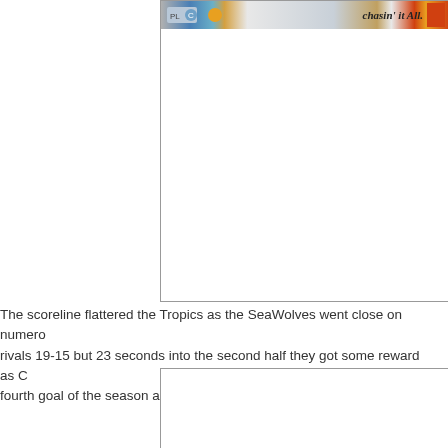[Figure (screenshot): Screenshot of a webpage or article with a browser chrome strip at the top showing navigation elements, icons, and stylized italic text reading 'chasin' it All.' with an orange/red element on the right. The main area below the strip is white/blank.]
The scoreline flattered the Tropics as the SeaWolves went close on numerous occasions, trailing rivals 19-15 but 23 seconds into the second half they got some reward as C... fourth goal of the season and to get one back.
[Figure (screenshot): A second screenshot box, mostly white/blank content area, partially visible at the bottom of the page.]